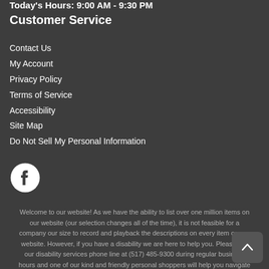Today's Hours: 9:00 AM - 9:30 PM
Customer Service
Contact Us
My Account
Privacy Policy
Terms of Service
Accessibility
Site Map
Do Not Sell My Personal Information
[Figure (logo): Facebook social media icon - circular logo with Facebook 'f' symbol]
Welcome to our website! As we have the ability to list over one million items on our website (our selection changes all of the time), it is not feasible for a company our size to record and playback the descriptions on every item on our website. However, if you have a disability we are here to help you. Please call our disability services phone line at (517) 485-9300 during regular business hours and one of our kind and friendly personal shoppers will help you navigate through our website, help conduct advanced searches, help you choose the item you are looking for with the specifications you are seeking, read you the specifications of any item and consult with you